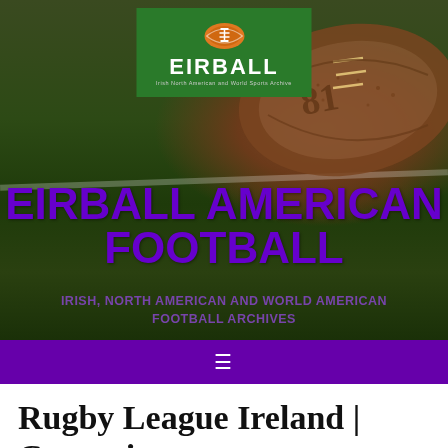[Figure (photo): Hero banner showing an American football on a green grass field with the Eirball logo overlaid and large purple text reading 'EIRBALL AMERICAN FOOTBALL' and subtitle 'IRISH, NORTH AMERICAN AND WORLD AMERICAN FOOTBALL ARCHIVES']
≡
Rugby League Ireland | Carnegie